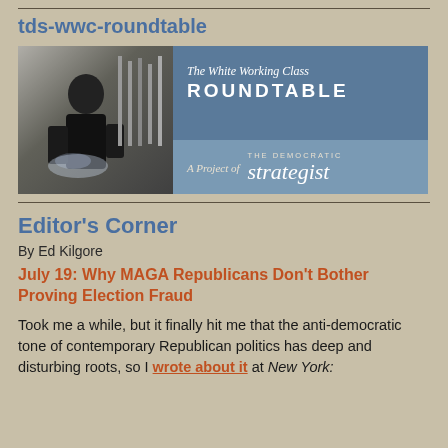tds-wwc-roundtable
[Figure (illustration): Banner image for The White Working Class Roundtable, A Project of The Democratic Strategist. Left side shows a photo of a worker in a kitchen or industrial setting. Right side has a blue background with text.]
Editor's Corner
By Ed Kilgore
July 19: Why MAGA Republicans Don't Bother Proving Election Fraud
Took me a while, but it finally hit me that the anti-democratic tone of contemporary Republican politics has deep and disturbing roots, so I wrote about it at New York: